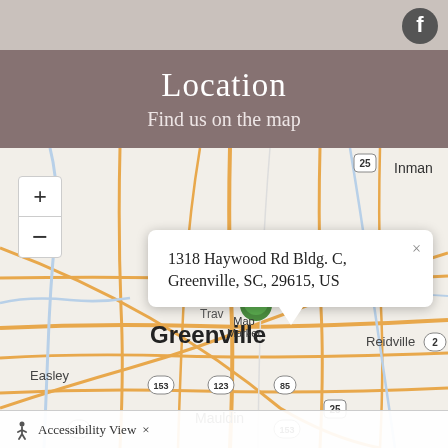Location
Find us on the map
[Figure (map): Interactive map showing Greenville, SC area with roads, cities (Greenville, Inman, Duncan, Reidville, Easley, Mauldin, Trav...), highway markers (25, 85, 153, 123), zoom controls (+/-), a map marker, and a popup showing the address: 1318 Haywood Rd Bldg. C, Greenville, SC, 29615, US. Accessibility View bar at bottom.]
1318 Haywood Rd Bldg. C, Greenville, SC, 29615, US
Accessibility View